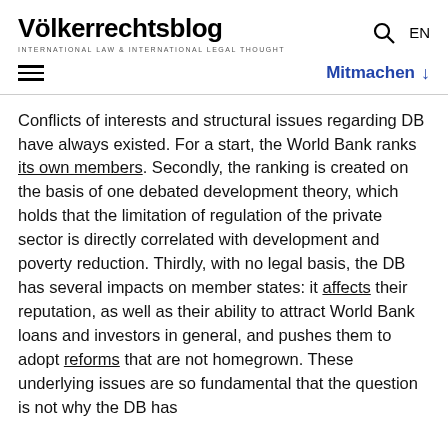Völkerrechtsblog INTERNATIONAL LAW & INTERNATIONAL LEGAL THOUGHT
Conflicts of interests and structural issues regarding DB have always existed. For a start, the World Bank ranks its own members. Secondly, the ranking is created on the basis of one debated development theory, which holds that the limitation of regulation of the private sector is directly correlated with development and poverty reduction. Thirdly, with no legal basis, the DB has several impacts on member states: it affects their reputation, as well as their ability to attract World Bank loans and investors in general, and pushes them to adopt reforms that are not homegrown. These underlying issues are so fundamental that the question is not why the DB has